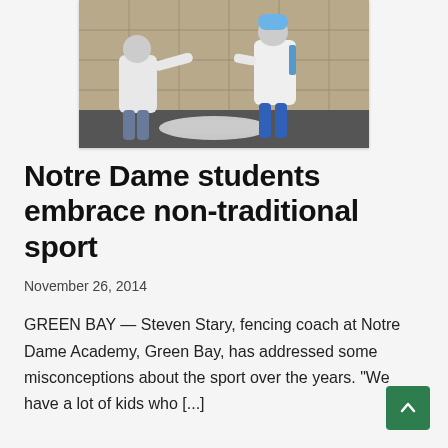[Figure (photo): Two people in white fencing jackets and protective gear practicing fencing indoors, with what appears to be a fallen jacket/gear on the floor between them. Tiled wall visible in background.]
Notre Dame students embrace non-traditional sport
November 26, 2014
GREEN BAY — Steven Stary, fencing coach at Notre Dame Academy, Green Bay, has addressed some misconceptions about the sport over the years. "We have a lot of kids who [...]